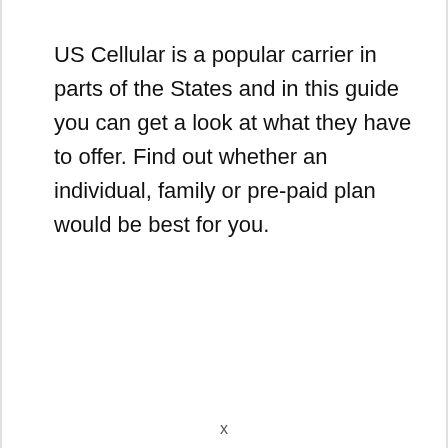US Cellular is a popular carrier in parts of the States and in this guide you can get a look at what they have to offer. Find out whether an individual, family or pre-paid plan would be best for you.